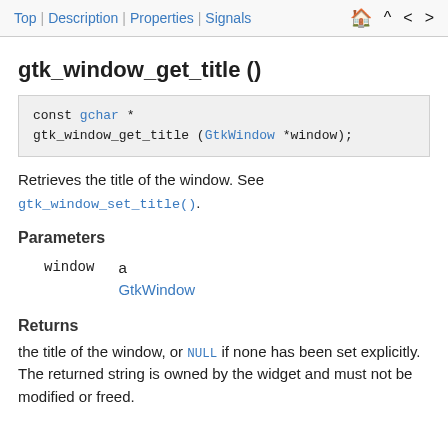Top | Description | Properties | Signals
gtk_window_get_title ()
Retrieves the title of the window. See gtk_window_set_title().
Parameters
|  |  |
| --- | --- |
| window | a GtkWindow |
Returns
the title of the window, or NULL if none has been set explicitly. The returned string is owned by the widget and must not be modified or freed.